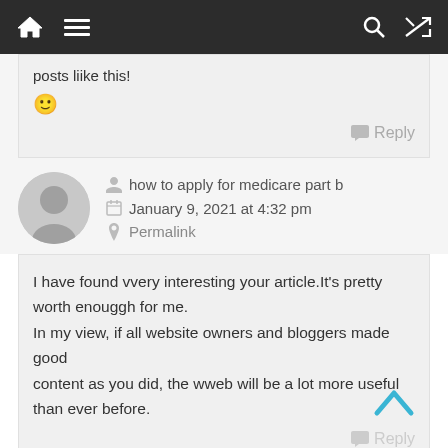Navigation bar with home, menu, search, shuffle icons
posts liike this!
😀
Reply
how to apply for medicare part b
January 9, 2021 at 4:32 pm
Permalink
I have found vvery interesting your article.It's pretty worth enouggh for me.
In my view, if all website owners and bloggers made good
content as you did, the wweb will be a lot more useful than ever before.
Reply